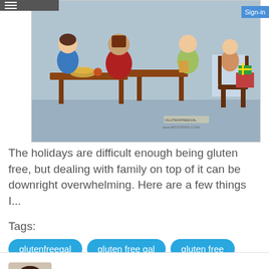[Figure (illustration): Cartoon scene of a holiday family dinner gathering, with animated characters seated around tables with food. Watermarks: GLUTENFREEGAL and www.BITSTRIPS.COM visible at bottom right.]
The holidays are difficult enough being gluten free, but dealing with family on top of it can be downright overwhelming. Here are a few things I...
Tags:
glutenfreegal
gluten free gal
gluten free
celiac disease
ddenourie